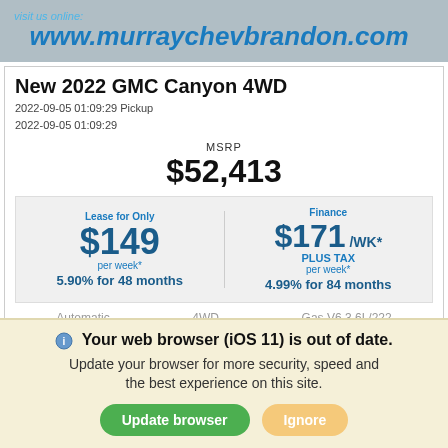visit us online: www.murraychevbrandon.com
New 2022 GMC Canyon 4WD
2022-09-05 01:09:29 Pickup
2022-09-05 01:09:29
MSRP
$52,413
Lease for Only $149 per week* 5.90% for 48 months
Finance $171 /WK* PLUS TAX per week* 4.99% for 84 months
Automatic   4WD   Gas V6 3.6L/222
Key Features
[Figure (infographic): Key features icons: Back-Up Camera, Remote Start, City Mpg or so, Wi-Fi, Navigation]
Your web browser (iOS 11) is out of date. Update your browser for more security, speed and the best experience on this site.
Update browser   Ignore